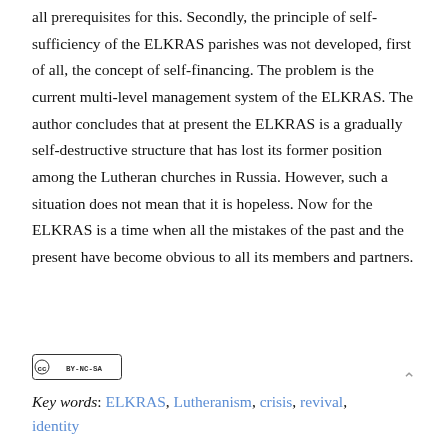all prerequisites for this. Secondly, the principle of self-sufficiency of the ELKRAS parishes was not developed, first of all, the concept of self-financing. The problem is the current multi-level management system of the ELKRAS. The author concludes that at present the ELKRAS is a gradually self-destructive structure that has lost its former position among the Lutheran churches in Russia. However, such a situation does not mean that it is hopeless. Now for the ELKRAS is a time when all the mistakes of the past and the present have become obvious to all its members and partners.
[Figure (logo): Creative Commons BY-NC-SA license badge]
Key words: ELKRAS, Lutheranism, crisis, revival, identity